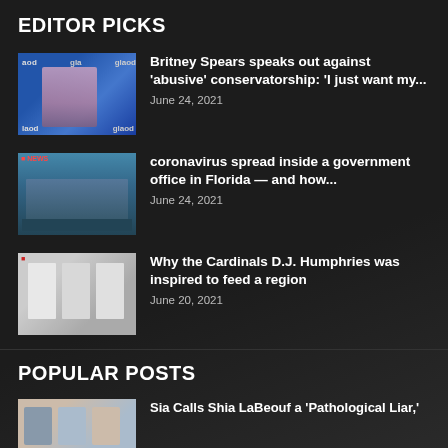EDITOR PICKS
Britney Spears speaks out against 'abusive' conservatorship: 'I just want my...
coronavirus spread inside a government office in Florida — and how...
Why the Cardinals D.J. Humphries was inspired to feed a region
POPULAR POSTS
Sia Calls Shia LaBeouf a 'Pathological Liar,'